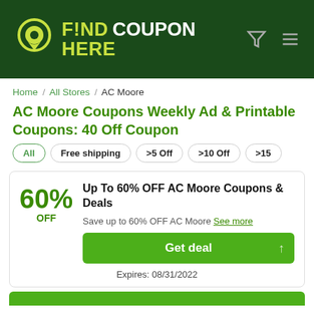FIND COUPON HERE
Home / All Stores / AC Moore
AC Moore Coupons Weekly Ad & Printable Coupons: 40 Off Coupon
All
Free shipping
>5 Off
>10 Off
>15
60% OFF — Up To 60% OFF AC Moore Coupons & Deals. Save up to 60% OFF AC Moore See more. Get deal. Expires: 08/31/2022